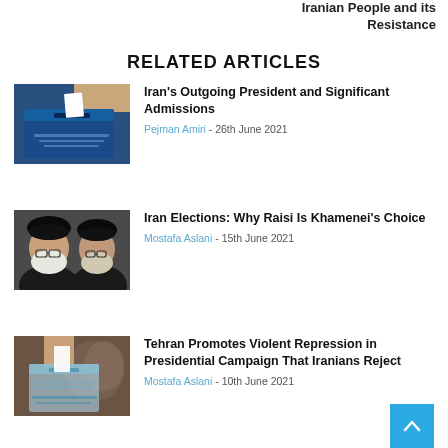Iranian People and its Resistance
RELATED ARTICLES
[Figure (photo): Person inserting ballot into a blue ballot box]
Iran's Outgoing President and Significant Admissions
Pejman Amiri - 26th June 2021
[Figure (photo): Two men wearing black turbans and glasses, clerical figures]
Iran Elections: Why Raisi Is Khamenei's Choice
Mostafa Aslani - 15th June 2021
[Figure (photo): Person inserting ballot into a transparent ballot box at election]
Tehran Promotes Violent Repression in Presidential Campaign That Iranians Reject
Mostafa Aslani - 10th June 2021